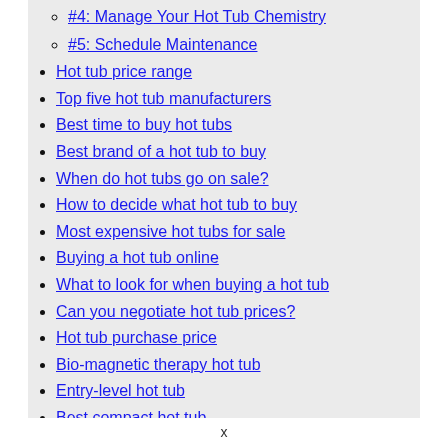#4: Manage Your Hot Tub Chemistry
#5: Schedule Maintenance
Hot tub price range
Top five hot tub manufacturers
Best time to buy hot tubs
Best brand of a hot tub to buy
When do hot tubs go on sale?
How to decide what hot tub to buy
Most expensive hot tubs for sale
Buying a hot tub online
What to look for when buying a hot tub
Can you negotiate hot tub prices?
Hot tub purchase price
Bio-magnetic therapy hot tub
Entry-level hot tub
Best compact hot tub
x